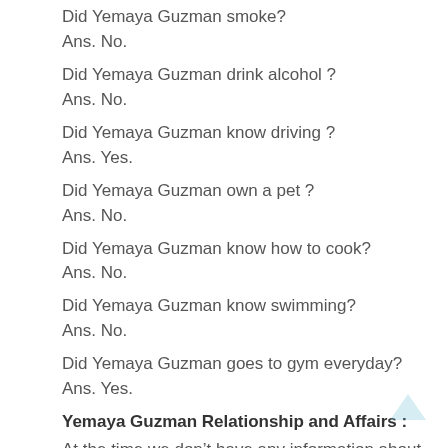Did Yemaya Guzman smoke?
Ans. No.
Did Yemaya Guzman drink alcohol ?
Ans. No.
Did Yemaya Guzman know driving ?
Ans. Yes.
Did Yemaya Guzman own a pet ?
Ans. No.
Did Yemaya Guzman know how to cook?
Ans. No.
Did Yemaya Guzman know swimming?
Ans. No.
Did Yemaya Guzman goes to gym everyday?
Ans. Yes.
Yemaya Guzman Relationship and Affairs :
At the time we don’t have any information about Yemaya Guzman Boyfriend and Relationship.